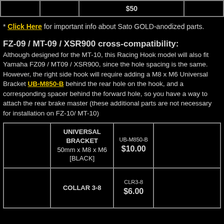|  |  | $50 |  |
| --- | --- | --- | --- |
* Click Here for important info about Sato GOLD-anodized parts.
FZ-09 / MT-09 / XSR900 cross-compatibility:
Although designed for the MT-10, this Racing Hook model will also fit Yamaha FZ09 / MT09 / XSR900, since the hole spacing is the same. However, the right side hook will require adding a M8 x M6 Universal Bracket UB-M850-B behind the rear hole on the hook, and a corresponding spacer behind the forward hole, so you have a way to attach the rear brake master (these additional parts are not necessary for installation on FZ-10/ MT-10)
|  | UNIVERSAL BRACKET 50mm x M8 x M6 [BLACK] | UB-M850-B $10.00 |  |
| --- | --- | --- | --- |
|  | COLLAR 3-8 | CLR3-8 $6.00 |  |